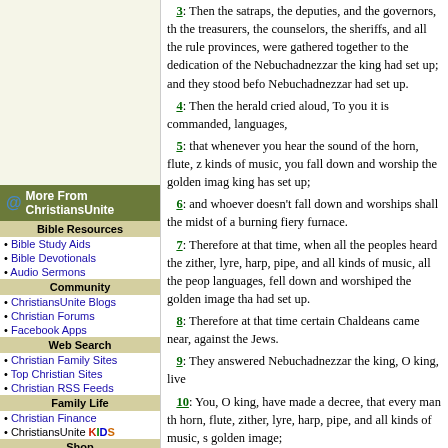More From ChristiansUnite
Bible Resources
Bible Study Aids
Bible Devotionals
Audio Sermons
Community
ChristiansUnite Blogs
Christian Forums
Facebook Apps
Web Search
Christian Family Sites
Top Christian Sites
Christian RSS Feeds
Family Life
Christian Finance
ChristiansUnite KIDS
Shop
Christian Magazines
Christian Book Store
Read
Christian News
Christian Columns
Christian Song Lyrics
3: Then the satraps, the deputies, and the governors, the treasurers, the counselors, the sheriffs, and all the rulers of the provinces, were gathered together to the dedication of the image that Nebuchadnezzar the king had set up; and they stood before the image that Nebuchadnezzar had set up.
4: Then the herald cried aloud, To you it is commanded, languages,
5: that whenever you hear the sound of the horn, flute, z kinds of music, you fall down and worship the golden imag king has set up;
6: and whoever doesn't fall down and worships shall the midst of a burning fiery furnace.
7: Therefore at that time, when all the peoples heard the zither, lyre, harp, pipe, and all kinds of music, all the peop languages, fell down and worshiped the golden image that had set up.
8: Therefore at that time certain Chaldeans came near, against the Jews.
9: They answered Nebuchadnezzar the king, O king, live
10: You, O king, have made a decree, that every man th horn, flute, zither, lyre, harp, pipe, and all kinds of music, s golden image;
11: and whoever doesn't fall down and worships, shall b burning fiery furnace.
12: There are certain Jews whom you have appointed o of Babylon: Shadrach, Meshach, and Abednego; these me you: they don't serve your gods, nor worship the golden im
13: Then Nebuchadnezzar in [his] rage and fury comma Meshach, and Abednego. Then they brought these men b
14: Nebuchadnezzar answered them, Is it on purpose, S Abednego, that you don't serve my god, nor worship the g up?